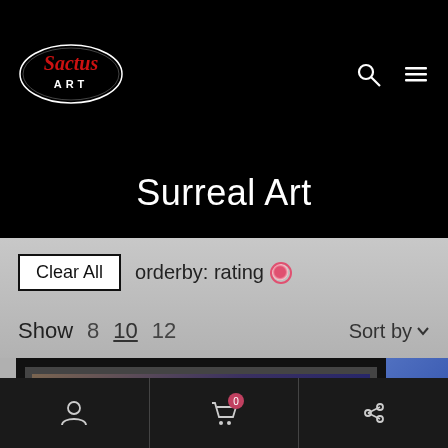[Figure (logo): Sactus Art logo — oval shape with red script text 'Sactus' and 'ART' below, on black background]
Surreal Art
Clear All   orderby: rating
Show  8  10  12   Sort by
[Figure (photo): Framed surreal artwork partially visible, dark tones with brown and blue hues]
[Figure (screenshot): Bottom navigation bar with user icon, cart icon with badge showing 0, and share icon]